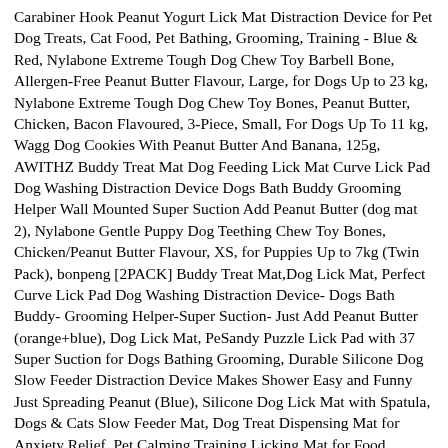Carabiner Hook Peanut Yogurt Lick Mat Distraction Device for Pet Dog Treats, Cat Food, Pet Bathing, Grooming, Training - Blue & Red, Nylabone Extreme Tough Dog Chew Toy Barbell Bone, Allergen-Free Peanut Butter Flavour, Large, for Dogs Up to 23 kg, Nylabone Extreme Tough Dog Chew Toy Bones, Peanut Butter, Chicken, Bacon Flavoured, 3-Piece, Small, For Dogs Up To 11 kg, Wagg Dog Cookies With Peanut Butter And Banana, 125g, AWITHZ Buddy Treat Mat Dog Feeding Lick Mat Curve Lick Pad Dog Washing Distraction Device Dogs Bath Buddy Grooming Helper Wall Mounted Super Suction Add Peanut Butter (dog mat 2), Nylabone Gentle Puppy Dog Teething Chew Toy Bones, Chicken/Peanut Butter Flavour, XS, for Puppies Up to 7kg (Twin Pack), bonpeng [2PACK] Buddy Treat Mat,Dog Lick Mat, Perfect Curve Lick Pad Dog Washing Distraction Device- Dogs Bath Buddy- Grooming Helper-Super Suction- Just Add Peanut Butter (orange+blue), Dog Lick Mat, PeSandy Puzzle Lick Pad with 37 Super Suction for Dogs Bathing Grooming, Durable Silicone Dog Slow Feeder Distraction Device Makes Shower Easy and Funny Just Spreading Peanut (Blue), Silicone Dog Lick Mat with Spatula, Dogs & Cats Slow Feeder Mat, Dog Treat Dispensing Mat for Anxiety Relief, Pet Calming Training Licking Mat for Food, Treats, Yogurt, Peanut Butter, umorismo 3 Pieces Dog Lick Pad Mat, slow feeder dog mat, Dog Treat Distraction Mat for Licking Gravy/Yoghurts/Peanut Butter/Pet Bathing (Square), Nina Ottosson by Outward Hound Dog Tornado Interactive Treat Puzzle